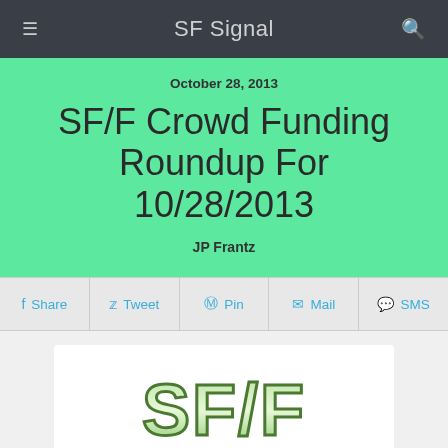SF Signal
October 28, 2013
SF/F Crowd Funding Roundup For 10/28/2013
JP Frantz
Share | Tweet | Pin | Mail | SMS
[Figure (logo): SF/F CROWD logo in bold green stylized block letters with dark outline and gradient effect]